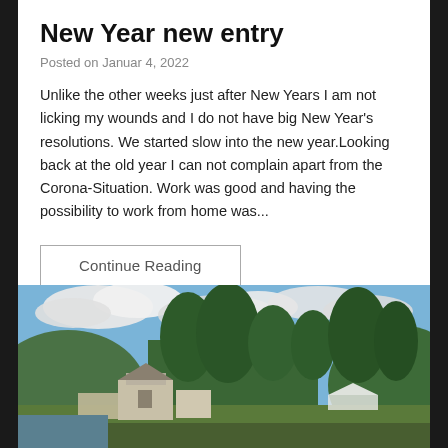New Year new entry
Posted on Januar 4, 2022
Unlike the other weeks just after New Years I am not licking my wounds and I do not have big New Year's resolutions. We started slow into the new year.Looking back at the old year I can not complain apart from the Corona-Situation. Work was good and having the possibility to work from home was...
Continue Reading
[Figure (photo): Outdoor photo of a small European town with historic buildings in the foreground, tall evergreen trees and green hills/mountains in the background, under a partly cloudy blue sky.]